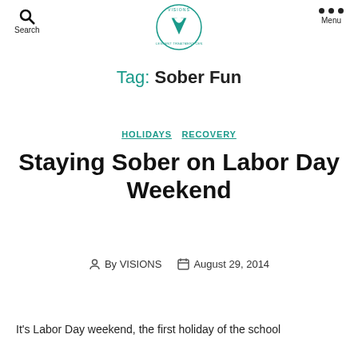Search | VISIONS (logo) | Menu
Tag: Sober Fun
HOLIDAYS  RECOVERY
Staying Sober on Labor Day Weekend
By VISIONS  August 29, 2014
It's Labor Day weekend, the first holiday of the school